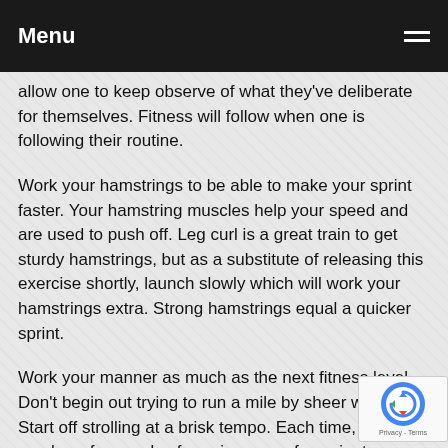Menu
allow one to keep observe of what they've deliberate for themselves. Fitness will follow when one is following their routine.
Work your hamstrings to be able to make your sprint faster. Your hamstring muscles help your speed and are used to push off. Leg curl is a great train to get sturdy hamstrings, but as a substitute of releasing this exercise shortly, launch slowly which will work your hamstrings extra. Strong hamstrings equal a quicker sprint.
Work your manner as much as the next fitness level. Don't begin out trying to run a mile by sheer will power. Start off strolling at a brisk tempo. Each time, add a number of seconds of running every few minutes. Increase the ti are operating, and lower how lengthy you are walking each